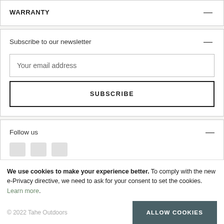WARRANTY
Subscribe to our newsletter
Your email address
SUBSCRIBE
Follow us
We use cookies to make your experience better. To comply with the new e-Privacy directive, we need to ask for your consent to set the cookies. Learn more.
ALLOW COOKIES
© 2022 Tahe Outdoors